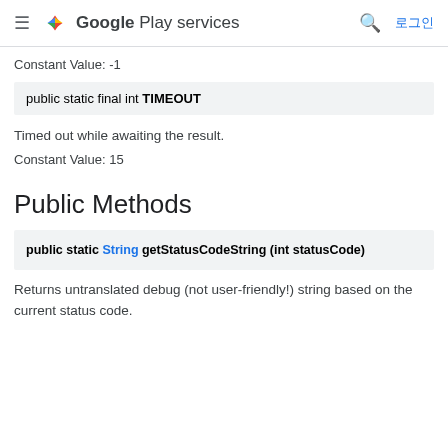Google Play services | 로그인
Constant Value: -1
public static final int TIMEOUT
Timed out while awaiting the result.
Constant Value: 15
Public Methods
public static String getStatusCodeString (int statusCode)
Returns untranslated debug (not user-friendly!) string based on the current status code.